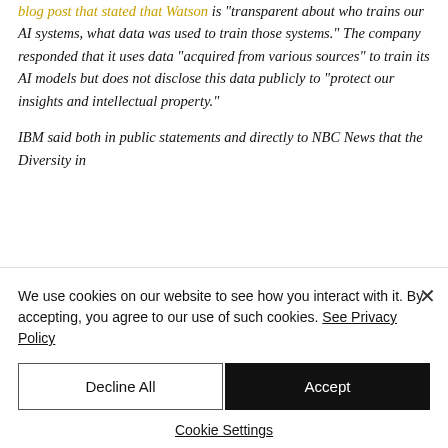blog post that stated that Watson is "transparent about who trains our AI systems, what data was used to train those systems." The company responded that it uses data "acquired from various sources" to train its AI models but does not disclose this data publicly to "protect our insights and intellectual property."
IBM said both in public statements and directly to NBC News that the Diversity in
We use cookies on our website to see how you interact with it. By accepting, you agree to our use of such cookies. See Privacy Policy
Decline All
Accept
Cookie Settings